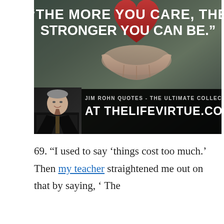[Figure (illustration): Motivational image showing person holding a heart, with quote 'The more you care, the stronger you can be.' by Jim Rohn, with banner reading 'JIM ROHN QUOTES - THE ULTIMATE COLLECTION AT THELIFEVIRTUE.COM' and a photo of Jim Rohn in the lower left corner.]
69. “I used to say ‘things cost too much.’ Then my teacher straightened me out on that by saying, ‘ The